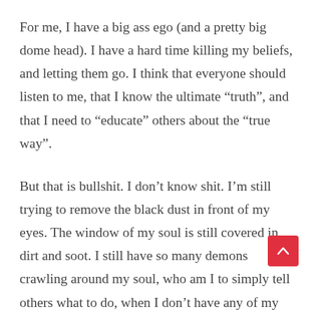For me, I have a big ass ego (and a pretty big dome head). I have a hard time killing my beliefs, and letting them go. I think that everyone should listen to me, that I know the ultimate “truth”, and that I need to “educate” others about the “true way”.
But that is bullshit. I don’t know shit. I’m still trying to remove the black dust in front of my eyes. The window of my soul is still covered in dirt and soot. I still have so many demons crawling around my soul, who am I to simply tell others what to do, when I don’t have any of my personal problems fixed yet?
The quote I try to always think about is from